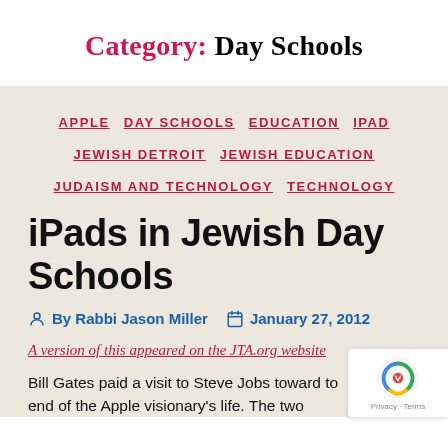Category: Day Schools
APPLE  DAY SCHOOLS  EDUCATION  IPAD  JEWISH DETROIT  JEWISH EDUCATION  JUDAISM AND TECHNOLOGY  TECHNOLOGY
iPads in Jewish Day Schools
By Rabbi Jason Miller  January 27, 2012
A version of this appeared on the JTA.org website
Bill Gates paid a visit to Steve Jobs toward to end of the Apple visionary's life. The two